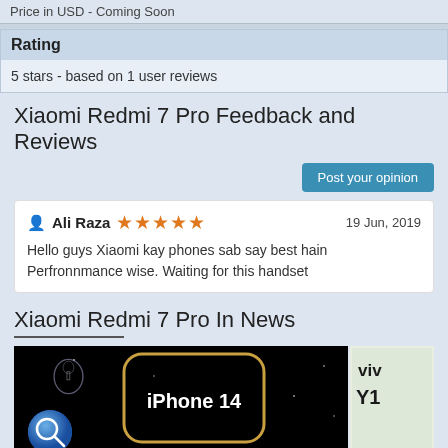Price in USD - Coming Soon
Rating
5 stars - based on 1 user reviews
Xiaomi Redmi 7 Pro Feedback and Reviews
Post your opinion
Ali Raza   ★★★★★   19 Jun, 2019
Hello guys Xiaomi kay phones sab say best hain Perfronnmance wise. Waiting for this handset
Xiaomi Redmi 7 Pro In News
[Figure (photo): News image 1: iPhone 14 with Apple logo on black background and search icon]
[Figure (photo): News image 2: Vivo Y1 product image]